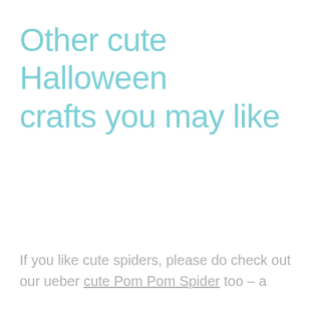Other cute Halloween crafts you may like
If you like cute spiders, please do check out our ueber cute Pom Pom Spider too – a